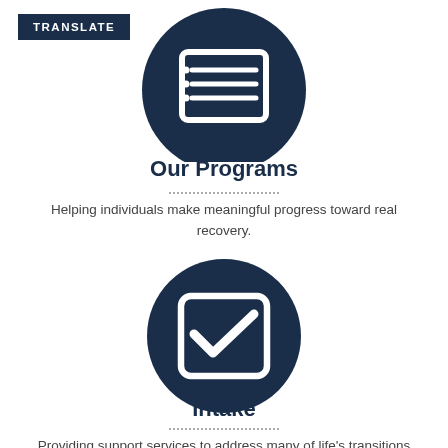TRANSLATE
[Figure (illustration): Dark navy blue circle icon with a white list/spreadsheet icon inside, representing programs]
Our Programs
Helping individuals make meaningful progress toward real recovery.
[Figure (illustration): Dark navy blue circle icon with a white checkbox/checkmark icon inside, representing intake]
Intake
Providing support services to address many of life's transitions